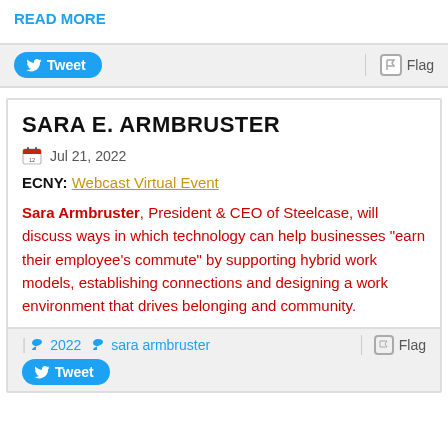READ MORE
Tweet
Flag
SARA E. ARMBRUSTER
Jul 21, 2022
ECNY: Webcast Virtual Event
Sara Armbruster, President & CEO of Steelcase, will discuss ways in which technology can help businesses "earn their employee's commute" by supporting hybrid work models, establishing connections and designing a work environment that drives belonging and community.
2022  sara armbruster
Flag
Tweet